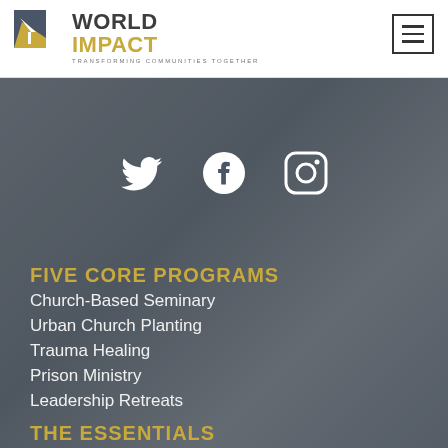[Figure (logo): World Impact logo with icon, text 'WORLD IMPACT' and tagline 'TRANSFORMING COMMUNITIES TOGETHER']
[Figure (other): Hamburger menu icon (three horizontal lines in a bordered box)]
[Figure (other): Background photo of hands (grayscale, overlaid with dark gray tint). Social media icons: Twitter bird, Facebook f-in-circle, Instagram camera-in-circle, all in white.]
FIVE CORE PROGRAMS
Church-Based Seminary
Urban Church Planting
Trauma Healing
Prison Ministry
Leadership Retreats
THE ESSENTIALS